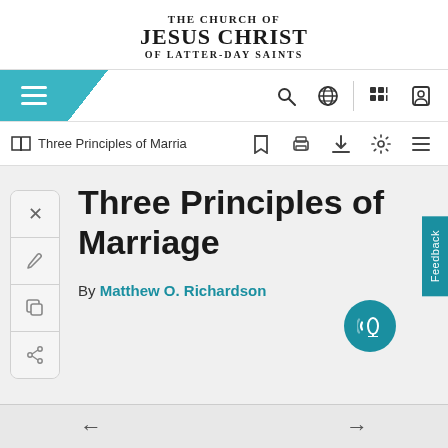THE CHURCH OF JESUS CHRIST OF LATTER-DAY SAINTS
[Figure (screenshot): Navigation bar with hamburger menu on teal background, search icon, globe icon, grid icon, and user icon]
[Figure (screenshot): Document toolbar showing book icon, 'Three Principles of Marria' title, bookmark, print, download, settings, and list icons]
Three Principles of Marriage
By Matthew O. Richardson